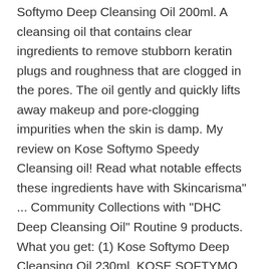Softymo Deep Cleansing Oil 200ml. A cleansing oil that contains clear ingredients to remove stubborn keratin plugs and roughness that are clogged in the pores. The oil gently and quickly lifts away makeup and pore-clogging impurities when the skin is damp. My review on Kose Softymo Speedy Cleansing oil! Read what notable effects these ingredients have with Skincarisma" ... Community Collections with "DHC Deep Cleansing Oil" Routine 9 products. What you get: (1) Kose Softymo Deep Cleansing Oil 230ml. KOSE SOFTYMO Speedy Cleansing Oil: Acne-prone Skin: ... It's infused with ingredients that are rich in antioxidants like green tea and moringa extract. It gently lifts away makeup and pore-clogging impurities, and melanin-containing dead skin cells without drying skin. menu. asagiri. Favorites 23 products. It is provided to attract your attention to potential threats. Kose. Kose Softymo Speedy Cleansing